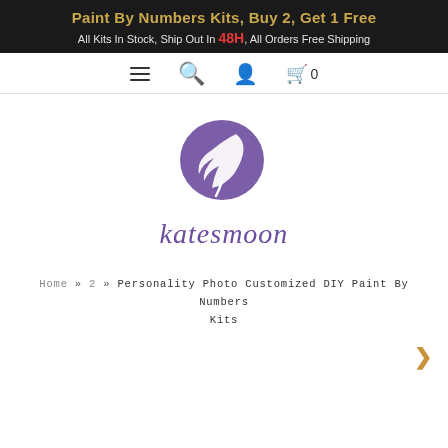Paint By Numbers Kits, Buy 2, Get 1 Free
All Kits In Stock, Ship Out In 48H, All Orders Free Shipping
[Figure (logo): Katesmoon logo: purple circle with white feather/quill inside, with italic purple text 'katesmoon' below]
Home » 2 » Personality Photo Customized DIY Paint By Numbers Kits